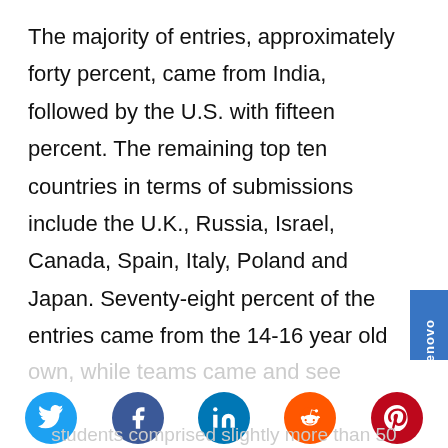The majority of entries, approximately forty percent, came from India, followed by the U.S. with fifteen percent. The remaining top ten countries in terms of submissions include the U.K., Russia, Israel, Canada, Spain, Italy, Poland and Japan. Seventy-eight percent of the entries came from the 14-16 year old teams with twenty-two percent from the 17–18 year old teams. Nearly half of the youth entered the competition on their own, while teams came and three students comprised slightly more than 50